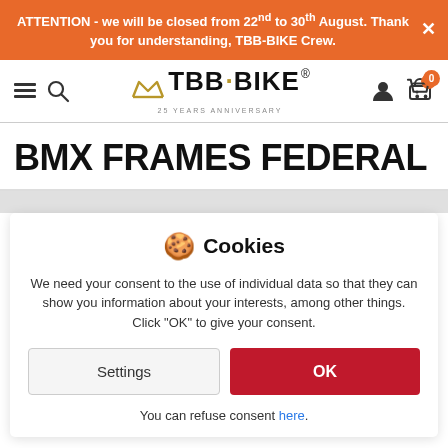ATTENTION - we will be closed from 22nd to 30th August. Thank you for understanding, TBB-BIKE Crew.
[Figure (logo): TBB-BIKE logo with crown graphic and 25 YEARS ANNIVERSARY text]
BMX FRAMES FEDERAL
Cookies
We need your consent to the use of individual data so that they can show you information about your interests, among other things. Click "OK" to give your consent.
Settings | OK
You can refuse consent here.